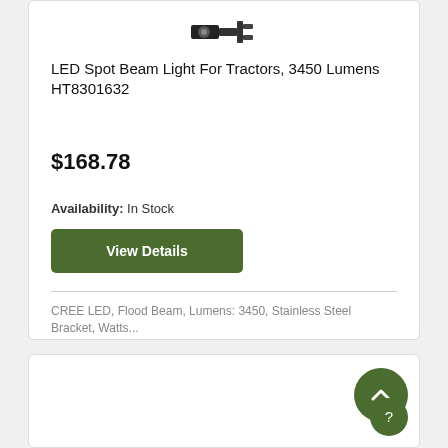[Figure (photo): Small LED spot beam light product icon shown at top of first product card]
LED Spot Beam Light For Tractors, 3450 Lumens HT8301632
$168.78
Availability: In Stock
View Details
CREE LED, Flood Beam, Lumens: 3450, Stainless Steel Bracket, Watts...
[Figure (photo): Circular LED work light mounted on an adjustable bracket, shown in bottom product card]